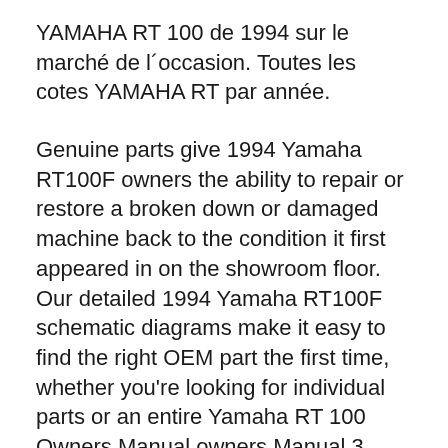YAMAHA RT 100 de 1994 sur le marché de l´occasion. Toutes les cotes YAMAHA RT par année.
Genuine parts give 1994 Yamaha RT100F owners the ability to repair or restore a broken down or damaged machine back to the condition it first appeared in on the showroom floor. Our detailed 1994 Yamaha RT100F schematic diagrams make it easy to find the right OEM part the first time, whether you're looking for individual parts or an entire Yamaha RT 100 Owners Manual owners Manual 3 years ago . Download the Yamaha RT 100 Owners Manual below in PDF format. Click on the download link … the